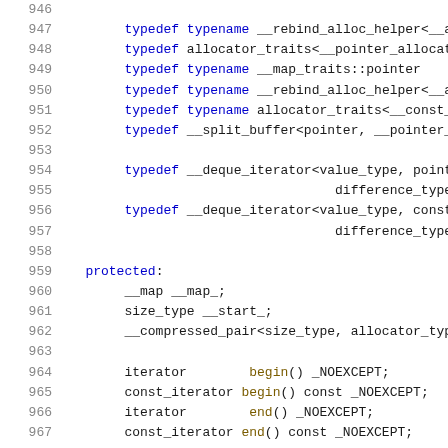Code listing lines 946-967 showing C++ deque class typedef and protected member declarations
946
947   typedef typename __rebind_alloc_helper<__al
948   typedef allocator_traits<__pointer_allocato
949   typedef typename __map_traits::pointer
950   typedef typename __rebind_alloc_helper<__al
951   typedef typename allocator_traits<__const_p
952   typedef __split_buffer<pointer, __pointer_a
953
954   typedef __deque_iterator<value_type, pointe
955                             difference_type>
956   typedef __deque_iterator<value_type, const_
957                             difference_type>
958
959 protected:
960   __map __map_;
961   size_type __start_;
962   __compressed_pair<size_type, allocator_type
963
964   iterator      begin() _NOEXCEPT;
965   const_iterator begin() const _NOEXCEPT;
966   iterator      end() _NOEXCEPT;
967   const_iterator end() const _NOEXCEPT;